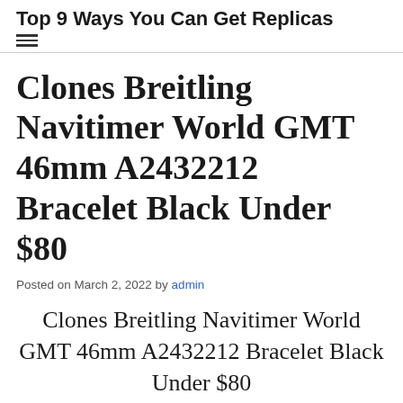Top 9 Ways You Can Get Replicas
Clones Breitling Navitimer World GMT 46mm A2432212 Bracelet Black Under $80
Posted on March 2, 2022 by admin
Clones Breitling Navitimer World GMT 46mm A2432212 Bracelet Black Under $80